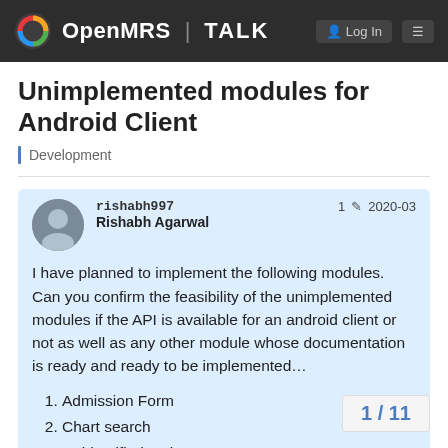OpenMRS | TALK
Unimplemented modules for Android Client
Development
rishabh997 Rishabh Agarwal 1 2020-03
I have planned to implement the following modules. Can you confirm the feasibility of the unimplemented modules if the API is available for an android client or not as well as any other module whose documentation is ready and ready to be implemented...
1. Admission Form
2. Chart search
3. Unidentified patient case
4. Mark Patient Deceased
1 / 11